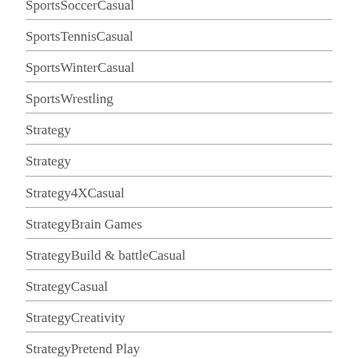SportsSoccerCasual
SportsTennisCasual
SportsWinterCasual
SportsWrestling
Strategy
Strategy
Strategy4XCasual
StrategyBrain Games
StrategyBuild & battleCasual
StrategyCasual
StrategyCreativity
StrategyPretend Play